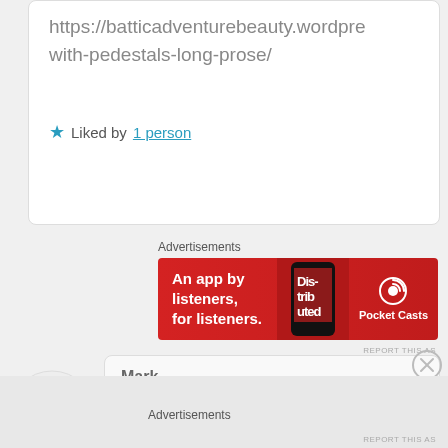https://batticadventurebeauty.wordpre with-pedestals-long-prose/
Liked by 1 person
Advertisements
[Figure (screenshot): Pocket Casts advertisement banner: red background, text 'An app by listeners, for listeners.' with phone image and Pocket Casts logo]
REPORT THIS AS
Mark
July 9, 2017 at 2:09 am

You are very wise. As a widower I appreciate your honesty, as a Christian I appreciate your need for
Advertisements
REPORT THIS AS